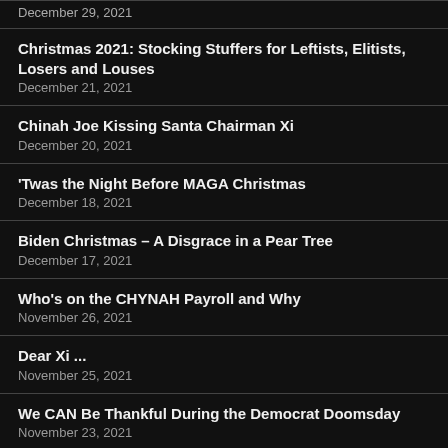December 29, 2021
Christmas 2021: Stocking Stuffers for Leftists, Elitists, Losers and Louses
December 21, 2021
Chinah Joe Kissing Santa Chairman Xi
December 20, 2021
'Twas the Night Before MAGA Christmas
December 18, 2021
Biden Christmas – A Disgrace in a Pear Tree
December 17, 2021
Who's on the CHYNAH Payroll and Why
November 26, 2021
Dear Xi ...
November 25, 2021
We CAN Be Thankful During the Democrat Doomsday
November 23, 2021
We All Know
November 14, 2021